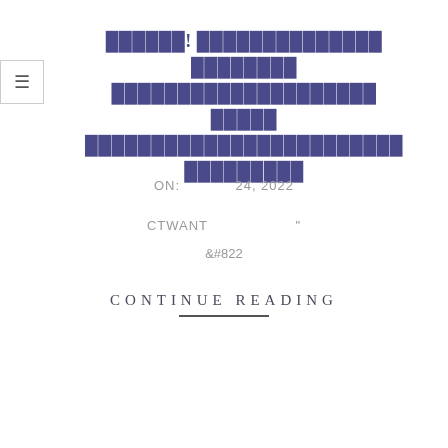≡
██████! ██████████████ ████████ ████████████████████ █████ ████████████████████████ █████████
ON:        24, 2022
CTWANT                    "
&#822
CONTINUE READING